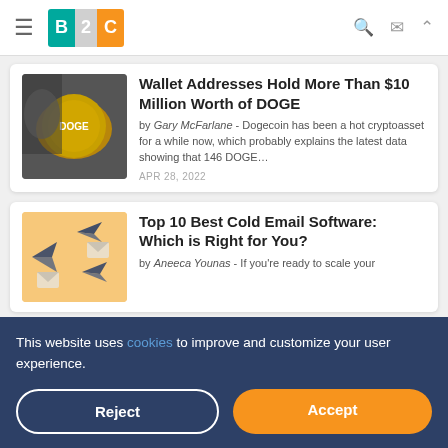B2C — Business 2 Community
[Figure (screenshot): Thumbnail of person with Dogecoin]
Wallet Addresses Hold More Than $10 Million Worth of DOGE
by Gary McFarlane - Dogecoin has been a hot cryptoasset for a while now, which probably explains the latest data showing that 146 DOGE…
APR 28, 2022
[Figure (illustration): Cold email software illustration with paper planes]
Top 10 Best Cold Email Software: Which is Right for You?
by Aneeca Younas - If you're ready to scale your
This website uses cookies to improve and customize your user experience.
Reject
Accept
[Figure (screenshot): Partial article thumbnail]
by Nick Saraev - One of the biggest problems